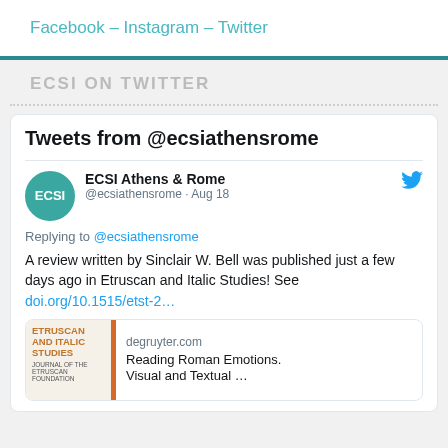Facebook – Instagram – Twitter
ECSI ON TWITTER
[Figure (screenshot): Twitter widget showing tweets from @ecsiathensrome. Includes tweet header with ECSI Athens & Rome account, dated Aug 18. Tweet text: 'Replying to @ecsiathensrome — A review written by Sinclair W. Bell was published just a few days ago in Etruscan and Italic Studies! See doi.org/10.1515/etst-2...' with a linked card to degruyter.com showing 'Reading Roman Emotions. Visual and Textual ...' and the Etruscan and Italic Studies journal cover image.]